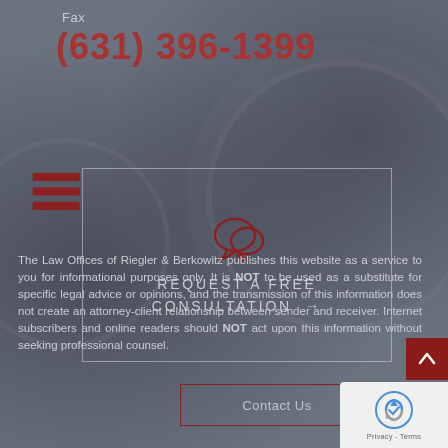Fax
(631) 396-1399
[Figure (infographic): Hamburger menu icon with three dark red horizontal bars]
[Figure (infographic): White outlined rectangle box containing a chat bubble SVG icon and the text REQUEST A FREE CONSULTATION with arrow]
REQUEST A FREE CONSULTATION →
The Law Offices of Riegler & Berkowitz publishes this website as a service to you for informational purposes only. It is NOT to be used as a substitute for specific legal advice or opinions, and the transmission of this information does not create an attorney-client relationship between sender and receiver. Internet subscribers and online readers should NOT act upon this information without seeking professional counsel.
Contact Us
[Figure (infographic): Dark red scroll-to-top button with upward arrow]
[Figure (infographic): reCAPTCHA badge with Privacy - Terms text]